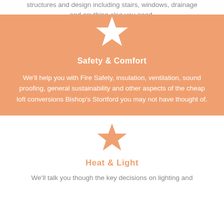structures and design including stairs, windows, drainage and anything else you need.
[Figure (illustration): White star icon on orange background, top of Safety & Comfort card]
Safety & Comfort
We'll help you with Fire Safety, insulation, ventilation, sound proofing, general sustainability and other aspects of the cheap loft conversions Bishop's Stortford you may not have thought of.
[Figure (illustration): Orange star icon on white background, above Heat & Light section]
Heat & Light
We'll talk you though the key decisions on lighting and